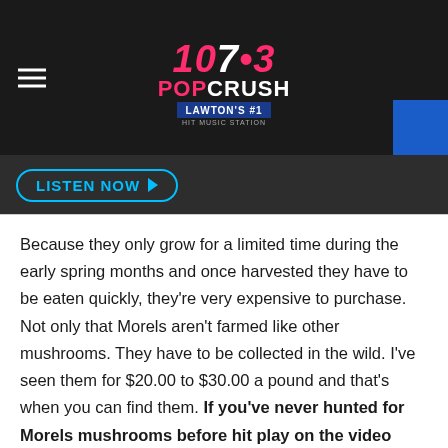[Figure (logo): 107.3 PopCrush Lawton's #1 Hit Music Station logo in header bar with hamburger menu]
[Figure (other): LISTEN NOW button with play arrow in dark navigation bar]
Because they only grow for a limited time during the early spring months and once harvested they have to be eaten quickly, they're very expensive to purchase. Not only that Morels aren't farmed like other mushrooms. They have to be collected in the wild. I've seen them for $20.00 to $30.00 a pound and that's when you can find them. If you've never hunted for Morels mushrooms before hit play on the video below to learn more.